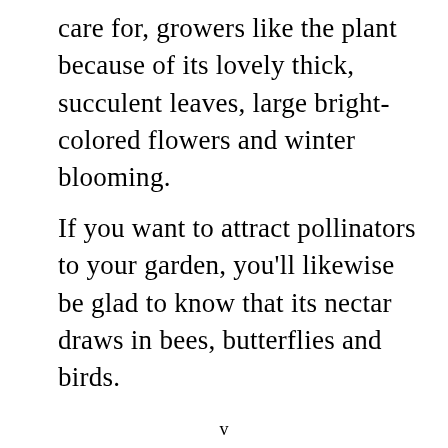care for, growers like the plant because of its lovely thick, succulent leaves, large bright-colored flowers and winter blooming.
If you want to attract pollinators to your garden, you’ll likewise be glad to know that its nectar draws in bees, butterflies and birds.
v